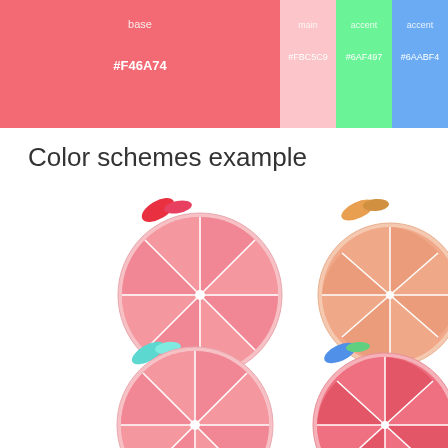[Figure (infographic): Color palette swatches showing base (#F46A74), main (#FBC5C9), accent (#6AF497), accent (#6AABF4)]
Color schemes example
[Figure (infographic): Four fruit slice illustrations (grapefruit style) with different color schemes: top-left pink/red with red leaves, top-right peach/orange with orange leaves, bottom-left pink with teal leaves, bottom-right red/rose with blue and green leaves]